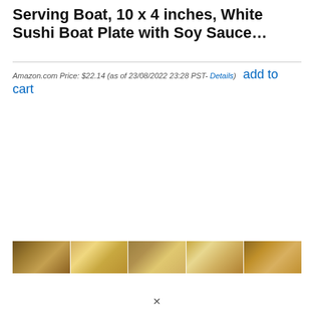Serving Boat, 10 x 4 inches, White Sushi Boat Plate with Soy Sauce…
Amazon.com Price: $22.14 (as of 23/08/2022 23:28 PST- Details)  add to cart
[Figure (photo): Strip of product photos showing white sushi boat plates and soy sauce dishes with food.]